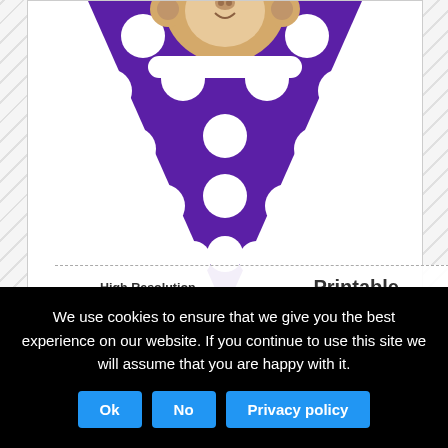[Figure (illustration): A purple polka-dot pennant banner flag with a cartoon monkey face at the top. The triangular pennant has white polka dots on a purple background. Below the pennant is a watermark area with dashed border lines containing text: 'High Resolution Print on 8.5 x 11 inch Computer Paper' on the left, a heart icon in the center, and 'Printable Treats .com' on the right. The page background is a light gray diagonal stripe pattern.]
Sponsored Links
We use cookies to ensure that we give you the best experience on our website. If you continue to use this site we will assume that you are happy with it.